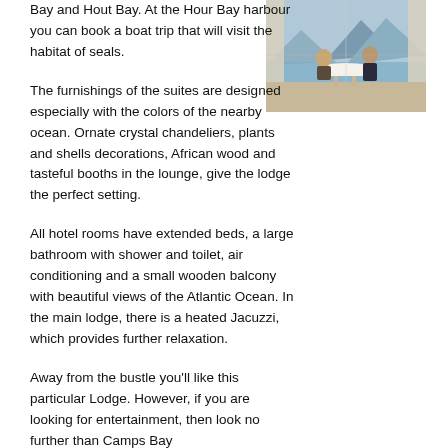Bay and Hout Bay. At the Hour Bay harbour you can book a boat trip that will visit the habitat of seals.
[Figure (photo): Two people dining at a table with a scenic ocean/mountain view through large windows]
The furnishings of the suites are designed especially with the colors of the nearby ocean. Ornate crystal chandeliers, plants and shells decorations, African wood and tasteful booths in the lounge, give the lodge the perfect setting.
All hotel rooms have extended beds, a large bathroom with shower and toilet, air conditioning and a small wooden balcony with beautiful views of the Atlantic Ocean. In the main lodge, there is a heated Jacuzzi, which provides further relaxation.
Away from the bustle you'll like this particular Lodge. However, if you are looking for entertainment, then look no further than Camps Bay